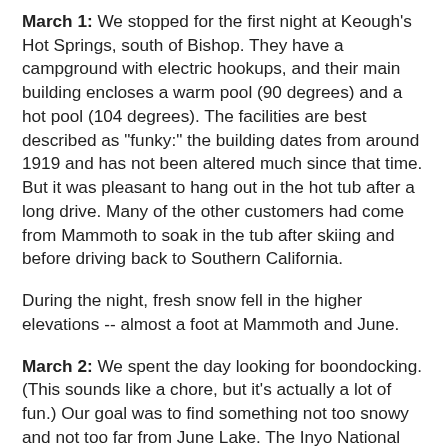March 1:  We stopped for the first night at Keough's Hot Springs, south of Bishop.  They have a campground with electric hookups, and their main building encloses a warm pool (90 degrees) and a hot pool (104 degrees).  The facilities are best described as "funky:"  the building dates from around 1919 and has not been altered much since that time.  But it was pleasant to hang out in the hot tub after a long drive.  Many of the other customers had come from Mammoth to soak in the tub after skiing and before driving back to Southern California.
During the night, fresh snow fell in the higher elevations -- almost a foot at Mammoth and June.
March 2:  We spent the day looking for boondocking.  (This sounds like a chore, but it's actually a lot of fun.)  Our goal was to find something not too snowy and not too far from June Lake.  The Inyo National Forest's motor vehicle use maps showed the areas that were open for boondocking; I had then used Google Earth to preview each potential site, had saved the images on my phone as jpegs, and had dropped precise waypoints on our ihikeGPS apps to provide